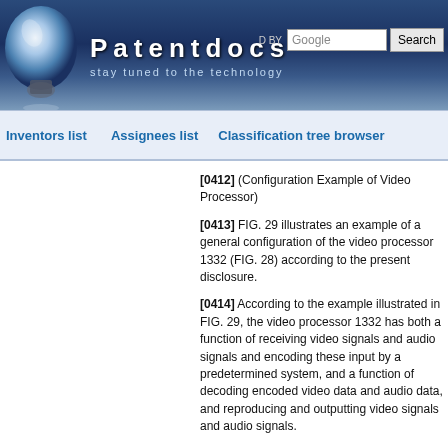Patentdocs – stay tuned to the technology
Inventors list | Assignees list | Classification tree browser
[0412] (Configuration Example of Video Processor)
[0413] FIG. 29 illustrates an example of a general configuration of the video processor 1332 (FIG. 28) according to the present disclosure.
[0414] According to the example illustrated in FIG. 29, the video processor 1332 has both a function of receiving video signals and audio signals and encoding these input by a predetermined system, and a function of decoding encoded video data and audio data, and reproducing and outputting video signals and audio signals.
[0415] As illustrated in FIG. 29, the video processor 1332 includes a video input processing unit 1401, a first image scaling unit 1402, a second image scaling unit 1403, a video output processing unit 1404, a frame memory 1405, and a memory control unit 1406. Moreover, the video processor 1332 includes an encode/decode engine 1407, video elementary stream (ES) buffers 1408A and 1408B